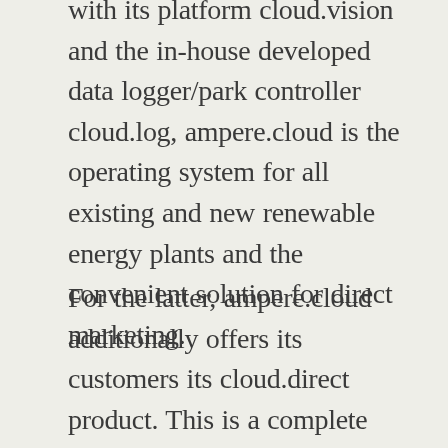with its platform cloud.vision and the in-house developed data logger/park controller cloud.log, ampere.cloud is the operating system for all existing and new renewable energy plants and the convenient solution for direct marketing.
For the latter, ampere.cloud additionally offers its customers its cloud.direct product. This is a complete service for a complete and certified connection to direct marketing.
The operating system works with all makes and all sizes of renewable energy systems